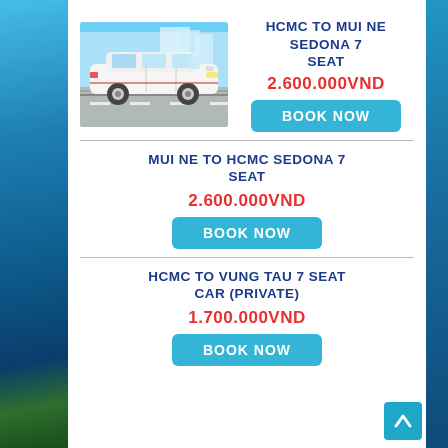[Figure (photo): White KIA Sedona 7-seat minivan driving on road with blue sky background]
HCMC TO MUI NE SEDONA 7 SEAT
2.600.000VND
BOOK NOW
MUI NE TO HCMC SEDONA 7 SEAT
2.600.000VND
BOOK NOW
HCMC TO VUNG TAU 7 SEAT CAR (Private)
1.700.000VND
BOOK NOW